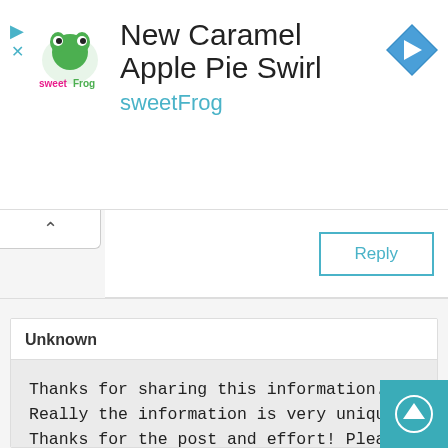[Figure (screenshot): SweetFrog advertisement banner with logo, title 'New Caramel Apple Pie Swirl', subtitle 'sweetFrog', and a blue diamond navigation arrow icon on the right.]
Reply
Unknown
Thanks for sharing this information. Really the information is very unique. Thanks for the post and effort! Please keep sharing more such blog. If you want to get the information about Air India airlines cancellation policy and related to discounts on cancellation then contact us . So, here you can get all details for it Air India flight cancellation or Air India Cancellation Policy This is very recent too, and I thought of updating you guys on this information